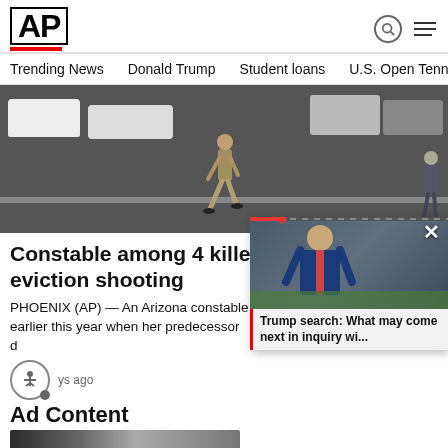AP
Trending News
Donald Trump
Student loans
U.S. Open Tenn
[Figure (photo): Person walking across a parking lot with police cars and vehicles in the background]
Constable among 4 killed in Arizona eviction shooting
PHOENIX (AP) — An Arizona constable earlier this year when her predecessor d
ys ago
Ad Content
[Figure (photo): Ad content image showing industrial equipment]
[Figure (photo): Video overlay thumbnail showing Trump with caption: Trump search: What may come next in inquiry wi...]